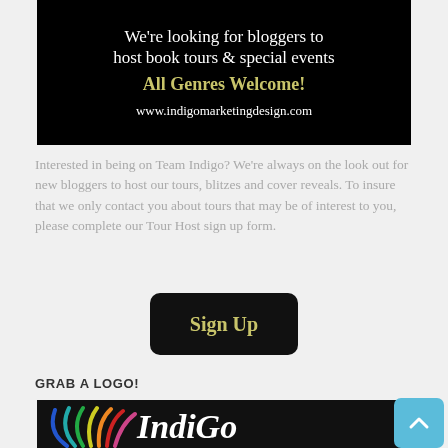[Figure (infographic): Black banner with white text 'We're looking for bloggers to host book tours & special events', yellow text 'All Genres Welcome!', and white URL 'www.indigomarketingdesign.com']
Interested in being on Team Indigo? We're always on the look out for new bloggers to host our tours, blitzes and cover reveals. To insure that we only contact you about tours that may be of interest to you, please complete our Tour Host sign up form.
[Figure (infographic): Black rounded rectangle button with yellow-gold text 'Sign Up']
GRAB A LOGO!
[Figure (logo): IndiGo Marketing Design logo on black background with colorful arc/fan design on left and white italic 'IndiGo' text]
[Figure (infographic): Blue scroll-to-top button with upward chevron arrow]